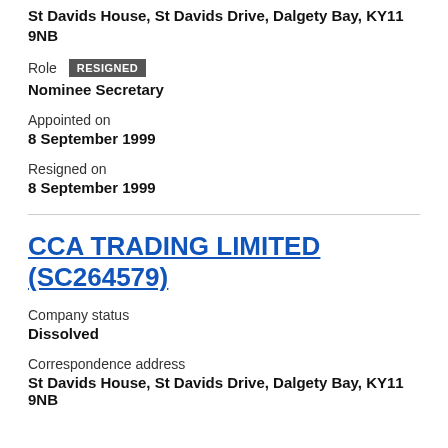St Davids House, St Davids Drive, Dalgety Bay, KY11 9NB
Role RESIGNED
Nominee Secretary
Appointed on
8 September 1999
Resigned on
8 September 1999
CCA TRADING LIMITED (SC264579)
Company status
Dissolved
Correspondence address
St Davids House, St Davids Drive, Dalgety Bay, KY11 9NB